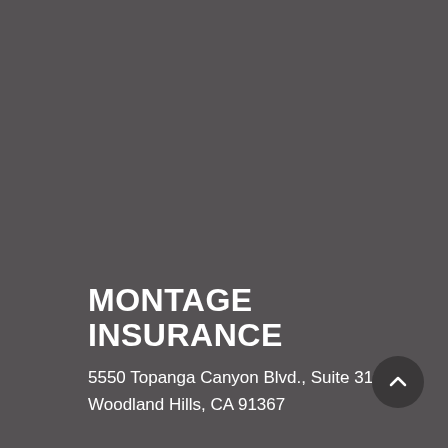MONTAGE INSURANCE
5550 Topanga Canyon Blvd., Suite 310
Woodland Hills, CA 91367